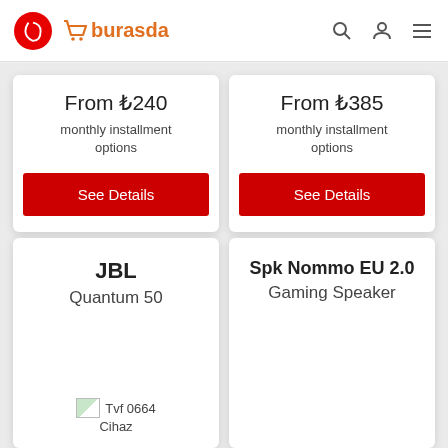Vodafone burasda
From ₺240
monthly installment options
See Details
From ₺385
monthly installment options
See Details
JBL
Quantum 50
Tvf 0664
Cihaz
Spk Nommo EU 2.0
Gaming Speaker